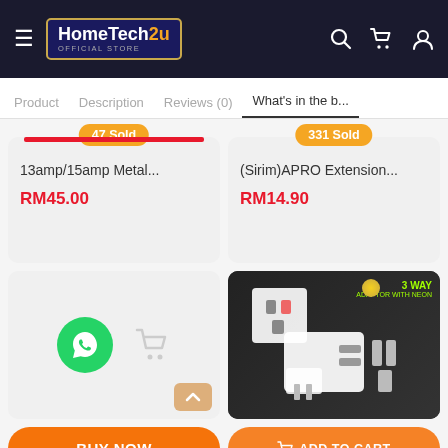HomeTech2u Official Store – e-commerce header with navigation icons
Product | Description | Reviews (0) | What's in the b...
47 Sold
331 Sold
13amp/15amp Metal...
RM45.00
(Sirim)APRO Extension...
RM14.90
[Figure (screenshot): Empty product card with WhatsApp chat button (green circle) and gray shopping cart icon]
[Figure (photo): 3 Way Adaptor with Neon product image on dark background, showing white plug adapter]
BUY NOW
ADD TO CART